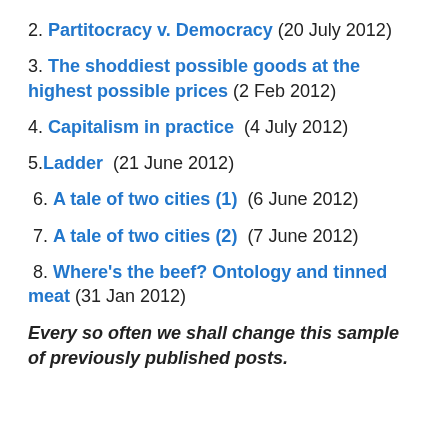2. Partitocracy v. Democracy (20 July 2012)
3. The shoddiest possible goods at the highest possible prices (2 Feb 2012)
4. Capitalism in practice  (4 July 2012)
5.Ladder  (21 June 2012)
6. A tale of two cities (1)  (6 June 2012)
7. A tale of two cities (2)  (7 June 2012)
8. Where's the beef? Ontology and tinned meat (31 Jan 2012)
Every so often we shall change this sample of previously published posts.